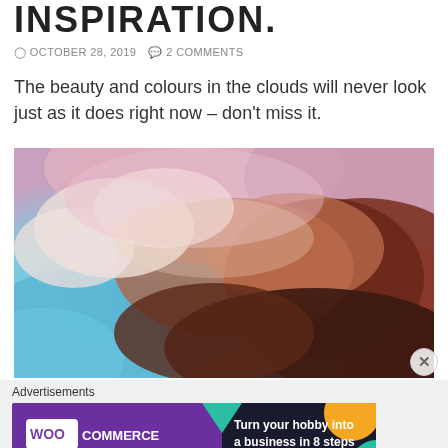INSPIRATION.
OCTOBER 28, 2019   2 COMMENTS
The beauty and colours in the clouds will never look just as it does right now – don't miss it.
[Figure (photo): Dramatic sky photo showing colourful clouds with purple, pink, orange hues against a blue sky background]
Advertisements
[Figure (other): WooCommerce advertisement banner: Turn your hobby into a business in 8 steps]